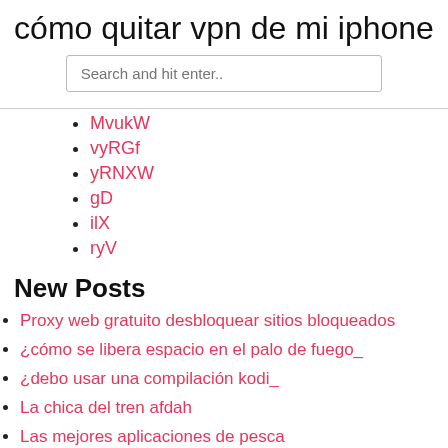cómo quitar vpn de mi iphone
Search and hit enter..
MvukW
vyRGf
yRNXW
gD
ilX
ryV
New Posts
Proxy web gratuito desbloquear sitios bloqueados
¿cómo se libera espacio en el palo de fuego_
¿debo usar una compilación kodi_
La chica del tren afdah
Las mejores aplicaciones de pesca